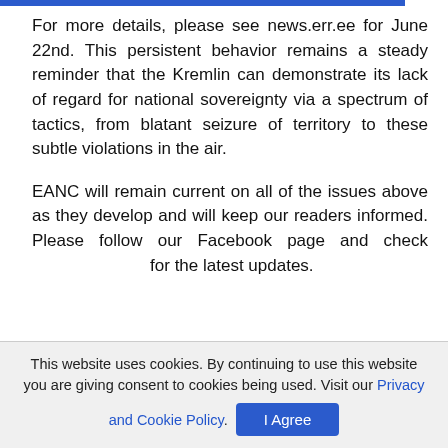For more details, please see news.err.ee for June 22nd. This persistent behavior remains a steady reminder that the Kremlin can demonstrate its lack of regard for national sovereignty via a spectrum of tactics, from blatant seizure of territory to these subtle violations in the air.

EANC will remain current on all of the issues above as they develop and will keep our readers informed. Please follow our Facebook page and check for the latest updates.
Karin Shuey
This website uses cookies. By continuing to use this website you are giving consent to cookies being used. Visit our Privacy and Cookie Policy.